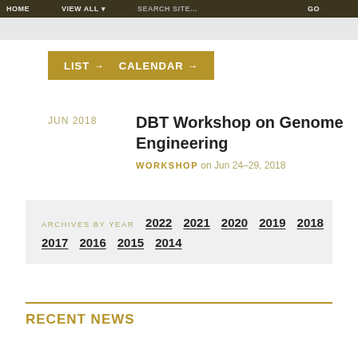HOME  VIEW ALL  Search site...  GO
LIST →   CALENDAR →
JUN 2018  DBT Workshop on Genome Engineering  WORKSHOP on Jun 24–29, 2018
ARCHIVES BY YEAR  2022  2021  2020  2019  2018  2017  2016  2015  2014
RECENT NEWS